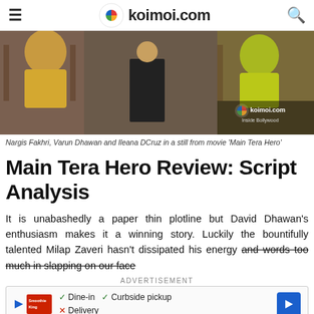koimoi.com
[Figure (photo): Nargis Fakhri, Varun Dhawan and Ileana DCruz dancing in a scene from movie Main Tera Hero, with koimoi.com Inside Bollywood watermark]
Nargis Fakhri, Varun Dhawan and Ileana DCruz in a still from movie ‘Main Tera Hero’
Main Tera Hero Review: Script Analysis
It is unabashedly a paper thin plotline but David Dhawan’s enthusiasm makes it a winning story. Luckily the bountifully talented Milap Zaveri hasn’t dissipated his energy and words too much in slapping on our faces
ADVERTISEMENT
[Figure (other): Advertisement banner: Smoothie King with Dine-in checkmark, Curbside pickup checkmark, Delivery cross, and navigation arrow]